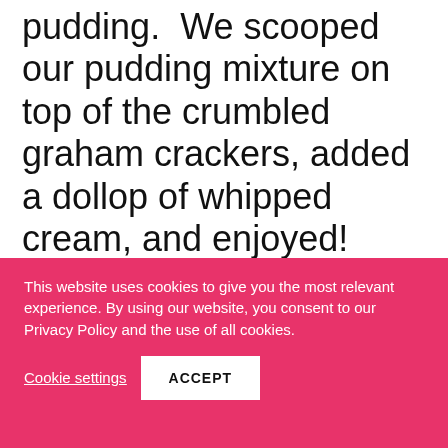was too lazy busy to make any pudding.  We scooped our pudding mixture on top of the crumbled graham crackers, added a dollop of whipped cream, and enjoyed!  You can grab the recipe here!
This website uses cookies to give you the most relevant experience. By using our website, you consent to our Privacy Policy and the use of all cookies.
Cookie settings
ACCEPT